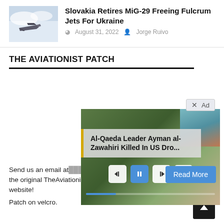[Figure (photo): Thumbnail of a MiG-29 jet aircraft flying through clouds]
Slovakia Retires MiG-29 Freeing Fulcrum Jets For Ukraine
August 31, 2022   Jorge Ruivo
THE AVIATIONIST PATCH
[Figure (screenshot): Media player overlay showing headline 'Al-Qaeda Leader Ayman al-Zawahiri Killed In US Dro...' with playback controls and Read More button, over a background photo of foliage and a building. An Ad badge appears in the top right corner.]
Send us an email at support this site buying the original TheAviationist.com patch, only available through this website!
Patch on velcro.